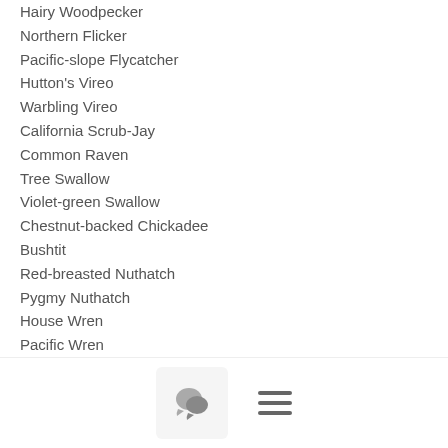Hairy Woodpecker
Northern Flicker
Pacific-slope Flycatcher
Hutton's Vireo
Warbling Vireo
California Scrub-Jay
Common Raven
Tree Swallow
Violet-green Swallow
Chestnut-backed Chickadee
Bushtit
Red-breasted Nuthatch
Pygmy Nuthatch
House Wren
Pacific Wren
Bewick's Wren      wren hat trick!
Wrentit
Swainson's Thrush    First of Season for many observers
American Robin
Orange-crowned Warbler